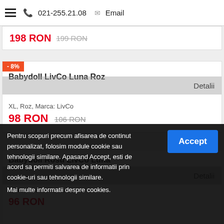☰ 021-255.21.08 ✉ Email
199 RON  199 RON (strikethrough)
- 8%
Babydoll LivCo Luna Roz
Detalii
XL, Roz, Marca: LivCo
98 RON  106 RON
Babydoll Rosu LivCo Luna
Detalii
L, XL, Rosu, Marca: LivCo
Pentru scopuri precum afisarea de continut personalizat, folosim module cookie sau tehnologii similare. Apasand Accept, esti de acord sa permiti salvarea de informatii prin cookie-uri sau tehnologii similare.
Mai multe informatii despre cookies.
Babydoll LivCo Afterhours Negru
Detalii